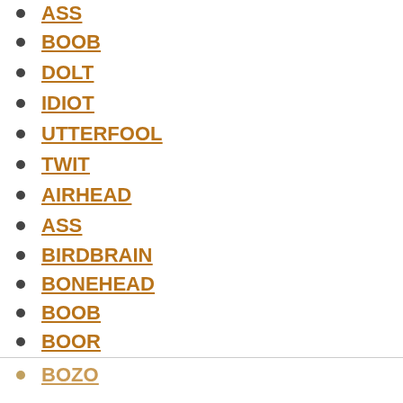ASS
BOOB
DOLT
IDIOT
UTTERFOOL
TWIT
AIRHEAD
ASS
BIRDBRAIN
BONEHEAD
BOOB
BOOR
BOZO